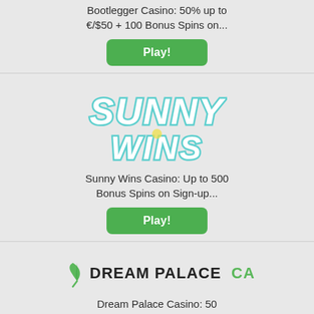Bootlegger Casino: 50% up to €/$50 + 100 Bonus Spins on...
Play!
[Figure (logo): Sunny Wins Casino logo with bubble-style lettering in teal and white]
Sunny Wins Casino: Up to 500 Bonus Spins on Sign-up...
Play!
[Figure (logo): Dream Palace Casino logo with green leaf icon and bold black/green text]
Dream Palace Casino: 50 Bonus Spins on Starburst on 5th Deposit
Play!